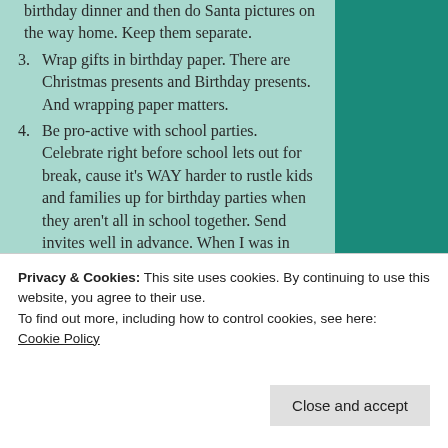birthday dinner and then do Santa pictures on the way home. Keep them separate.
3. Wrap gifts in birthday paper. There are Christmas presents and Birthday presents. And wrapping paper matters.
4. Be pro-active with school parties. Celebrate right before school lets out for break, cause it's WAY harder to rustle kids and families up for birthday parties when they aren't all in school together. Send invites well in advance. When I was in later
Privacy & Cookies: This site uses cookies. By continuing to use this website, you agree to their use.
To find out more, including how to control cookies, see here:
Cookie Policy
Close and accept